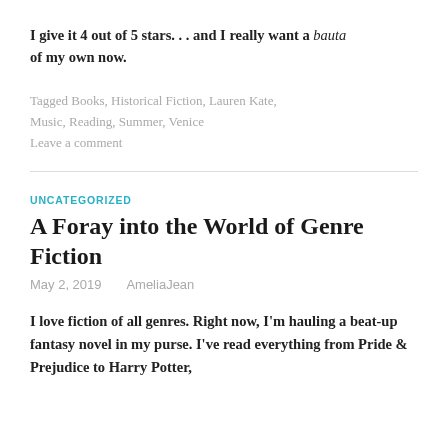I give it 4 out of 5 stars. . . and I really want a bauta of my own now.
Tagged Books, Historical Fiction, Lauren Kate, Music, Reading, Summer, Venice
Leave a comment
UNCATEGORIZED
A Foray into the World of Genre Fiction
May 2, 2019   AmeliaJean
I love fiction of all genres. Right now, I'm hauling a beat-up fantasy novel in my purse. I've read everything from Pride & Prejudice to Harry Potter,